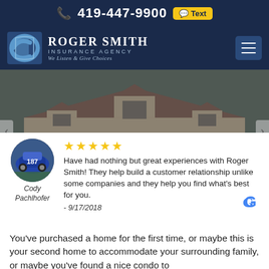419-447-9900  Text
ROGER SMITH INSURANCE AGENCY — We Listen & Give Choices
[Figure (photo): Exterior photo of a large stone house with brick accents, multiple windows and dormers, used as hero image for Home insurance page]
HOME
Have had nothing but great experiences with Roger Smith! They help build a customer relationship unlike some companies and they help you find what's best for you. - 9/17/2018
Cody Pachlhofer
You've purchased a home for the first time, or maybe this is your second home to accommodate your surrounding family, or maybe you've found a nice condo to